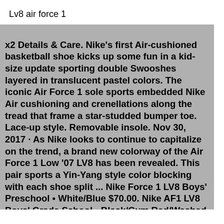Lv8 air force 1
x2 Details & Care. Nike's first Air-cushioned basketball shoe kicks up some fun in a kid-size update sporting double Swooshes layered in translucent pastel colors. The iconic Air Force 1 sole sports embedded Nike Air cushioning and crenellations along the tread that frame a star-studded bumper toe. Lace-up style. Removable insole. Nov 30, 2017 · As Nike looks to continue to capitalize on the trend, a brand new colorway of the Air Force 1 Low '07 LV8 has been revealed. This pair sports a Yin-Yang style color blocking with each shoe split ... Nike Force 1 LV8 Boys' Preschool • White/Blue $70.00. Nike AF1 LV8 Boys' Grade School • Black/Gym Red/Washed Teal $95.00. Nike Force 1 LV8 Boys' Toddler • White/Blue $55.00. Nike Air Force 1 LV8 Boys' Toddler • White/Black $54.99 $55.00. Nike AF1 LV8 Girls' Grade School • Tan/Silver $95.00. Details &